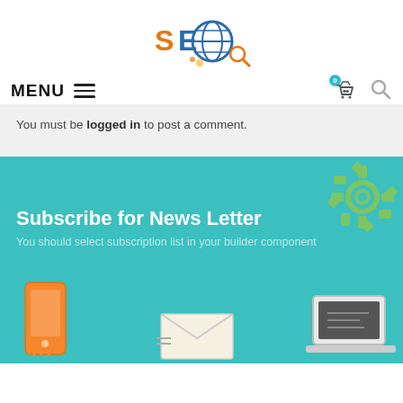[Figure (logo): SEO logo with globe and magnifier icon, colorful text]
MENU ☰  [cart icon with badge 0] [search icon]
You must be logged in to post a comment.
Subscribe for News Letter
You should select subscription list in your builder component
[Figure (illustration): Bottom icons row: smartphone, envelope/email, and desktop/laptop icons on teal background, partially visible]